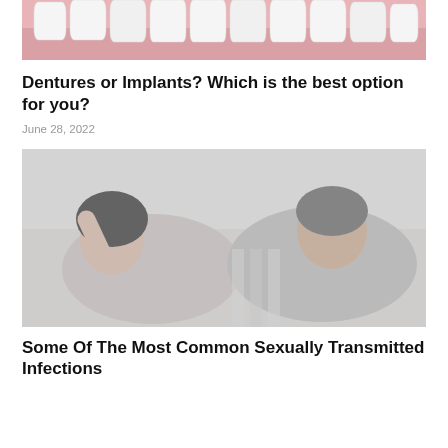[Figure (photo): Close-up photo of white teeth on a pink background, showing upper row of teeth]
Dentures or Implants? Which is the best option for you?
June 28, 2022
[Figure (photo): A couple lying down together on a bed, smiling and laughing, photo in muted grayish tones]
Some Of The Most Common Sexually Transmitted Infections